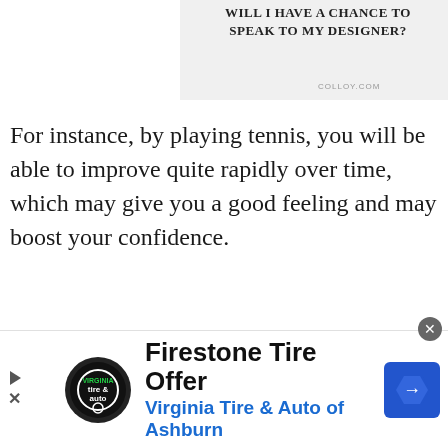[Figure (screenshot): Partial screenshot of a website showing text 'WILL I HAVE A CHANCE TO SPEAK TO MY DESIGNER?' with 'COLLOY.COM' label]
For instance, by playing tennis, you will be able to improve quite rapidly over time, which may give you a good feeling and may boost your confidence.
Confidence is not only crucial in sports, it is also a main driver for success in all parts of our daily life and therefore, it
[Figure (infographic): Firestone Tire Offer advertisement banner showing Virginia Tire & Auto of Ashburn with logo and navigation arrow icon]